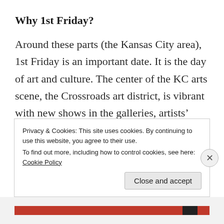Why 1st Friday?
Around these parts (the Kansas City area), 1st Friday is an important date. It is the day of art and culture. The center of the KC arts scene, the Crossroads art district, is vibrant with new shows in the galleries, artists’ meetups and just a great camaraderie of art lovers. Styling is an art form in my point of view, so it was just natural a MeadowTree Style event would have to be on a
Privacy & Cookies: This site uses cookies. By continuing to use this website, you agree to their use.
To find out more, including how to control cookies, see here: Cookie Policy
Close and accept